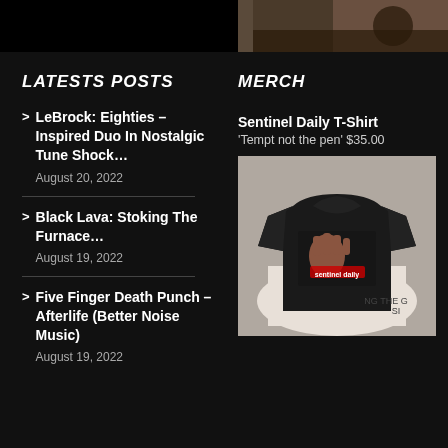[Figure (photo): Top partial image strip showing a dark background with partial photo at top right]
LATESTS POSTS
LeBrock: Eighties – Inspired Duo In Nostalgic Tune Shock… August 20, 2022
Black Lava: Stoking The Furnace… August 19, 2022
Five Finger Death Punch – Afterlife (Better Noise Music) August 19, 2022
MERCH
Sentinel Daily T-Shirt
'Tempt not the pen' $35.00
[Figure (photo): Photo of a black Sentinel Daily t-shirt with graphic design, laid on a white surface]